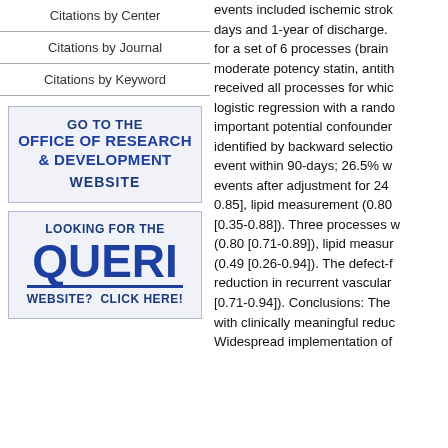Citations by Center
Citations by Journal
Citations by Keyword
[Figure (other): Box with bold blue text: GO TO THE OFFICE OF RESEARCH & DEVELOPMENT WEBSITE]
[Figure (other): Box with bold blue text: LOOKING FOR THE QUERI WEBSITE? CLICK HERE!]
events included ischemic stroke days and 1-year of discharge. for a set of 6 processes (brain moderate potency statin, antith received all processes for whic logistic regression with a rando important potential confounder identified by backward selectio event within 90-days; 26.5% w events after adjustment for 24 0.85], lipid measurement (0.80 [0.35-0.88]). Three processes w (0.80 [0.71-0.89]), lipid measur (0.49 [0.26-0.94]). The defect-f reduction in recurrent vascular [0.71-0.94]). Conclusions: The with clinically meaningful reduc Widespread implementation of